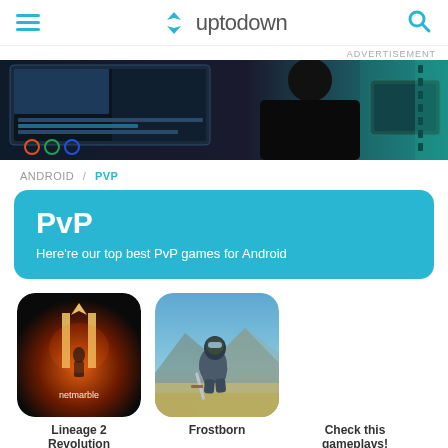uptodown - hamburger menu and search icon
ADVERTISEMENT
[Figure (photo): Advertisement banner showing a video editor working at a computer with multiple screens in a dark studio environment.]
ANDROID / PVP
PvP
Here're our top best PvP games for Android
[Figure (photo): Lineage 2 Revolution app icon - dark fantasy game icon with a glowing figure and netmarble logo]
Lineage 2 Revolution
[Figure (photo): Frostborn app icon showing a warrior in armor crouching with mountains in the background]
Frostborn
Check this gameplays!